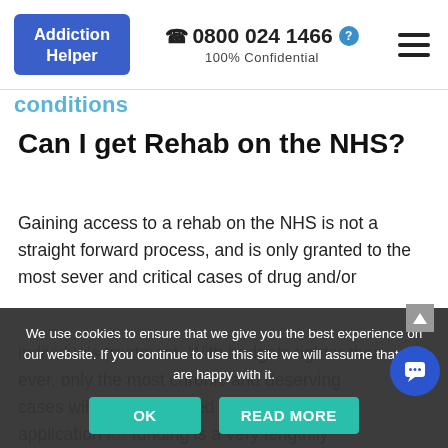Addiction Helper | 0800 024 1466 | 100% Confidential
conditions
Can I get Rehab on the NHS?
Gaining access to a rehab on the NHS is not a straight forward process, and is only granted to the most sever and critical cases of drug and/or government... individuals treatment. With budgets tighter than ever, only the most chronic and deserving cases will be encouraged to apply. The application for funding is a very lengthily process; you would required to engage in less intensive treatment
We use cookies to ensure that we give you the best experience on our website. If you continue to use this site we will assume that you are happy with it. OK READ MORE